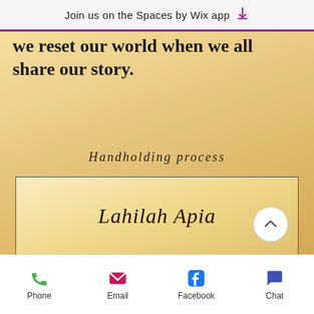Join us on the Spaces by Wix app
we reset our world when we all share our story.
Handholding process
Lahilah Apia
Scott Wilding
Phone   Email   Facebook   Chat